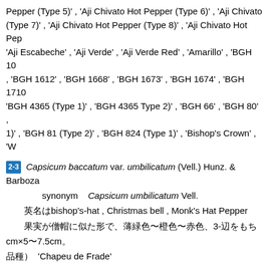Pepper (Type 5)' , 'Aji Chivato Hot Pepper (Type 6)' , 'Aji Chivato (Type 7)' , 'Aji Chivato Hot Pepper (Type 8)' , 'Aji Chivato Hot Pep... 'Aji Escabeche' , 'Aji Verde' , 'Aji Verde Red' , 'Amarillo' , 'BGH 10 , 'BGH 1612' , 'BGH 1668' , 'BGH 1673' , 'BGH 1674' , 'BGH 1710 'BGH 4365 (Type 1)' , 'BGH 4365 Type 2)' , 'BGH 66' , 'BGH 80' , 1)' , 'BGH 81 (Type 2)' , 'BGH 824 (Type 1)' , 'Bishop's Crown' , 'W
2-3 Capsicum baccatum var. umbilicatum (Vell.) Hunz. & Barboza synonym Capsicum umbilicatum Vell. 英名はbishop's-hat , Christmas bell , Monk's Hat Pepper 果実が僧帽に似た形で、薄緑色〜橙色〜赤色、3-辺をもち cm×5〜7.5cm。 品種）'Chapeu de Frade'
3 Capsicum chinense Jacq. カプシクム・シネンセ （代表品 synonym Capsicum sinense Murray Capsicum angulosum DeWitt and Bosland,, Smith and Heiser 西部アマゾン川流域（ボリビア、ペルー、ブラジル）原産 リブ諸島原産ともいわれる 参考10,11)。英名はbonnet peppe habanero pepper , piri-piri pepper , squash pepper , yellow squash